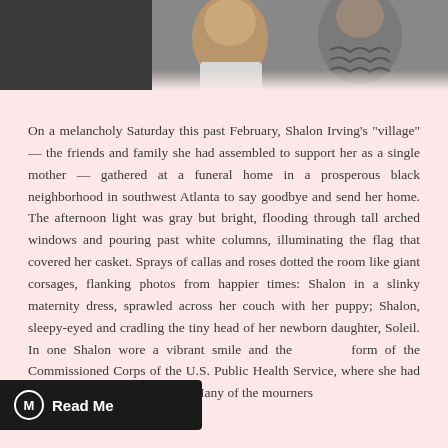[Figure (photo): Photograph of two people, cropped at top of page with dark background.]
On a melancholy Saturday this past February, Shalon Irving's "village" — the friends and family she had assembled to support her as a single mother — gathered at a funeral home in a prosperous black neighborhood in southwest Atlanta to say goodbye and send her home. The afternoon light was gray but bright, flooding through tall arched windows and pouring past white columns, illuminating the flag that covered her casket. Sprays of callas and roses dotted the room like giant corsages, flanking photos from happier times: Shalon in a slinky maternity dress, sprawled across her couch with her puppy; Shalon, sleepy-eyed and cradling the tiny head of her newborn daughter, Soleil. In one Shalon wore a vibrant smile and the form of the Commissioned Corps of the U.S. Public Health Service, where she had been a lieutenant commander. Many of the mourners